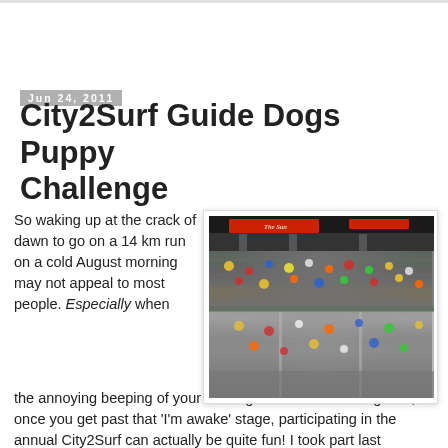Jun 24, 2011
City2Surf Guide Dogs Puppy Challenge
[Figure (photo): Aerial/elevated view of a large crowd of runners at the start of a race event, with red banners and signage visible at the top, a green starting line, and thousands of participants filling a wide street.]
So waking up at the crack of dawn to go on a 14 km run on a cold August morning may not appeal to most people. Especially when the annoying beeping of your alarm goes off that morning. But, once you get past that 'I'm awake' stage, participating in the annual City2Surf can actually be quite fun! I took part last